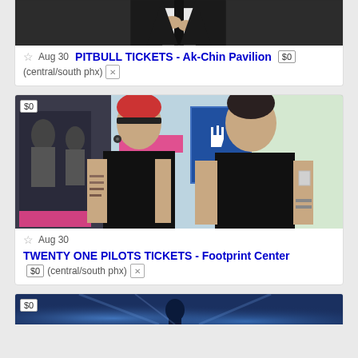[Figure (photo): Partial photo of a person in a dark suit adjusting a tie, cropped at top of page]
Aug 30 PITBULL TICKETS - Ak-Chin Pavilion $0 (central/south phx)
[Figure (photo): Photo of two men from Twenty One Pilots standing in front of promotional banners, wearing black t-shirts. One has red-dyed hair. $0 badge in top-left corner.]
Aug 30 TWENTY ONE PILOTS TICKETS - Footprint Center $0 (central/south phx)
[Figure (photo): Partial photo of a concert scene with blue lighting, partially visible at bottom of page. $0 badge in top-left corner.]